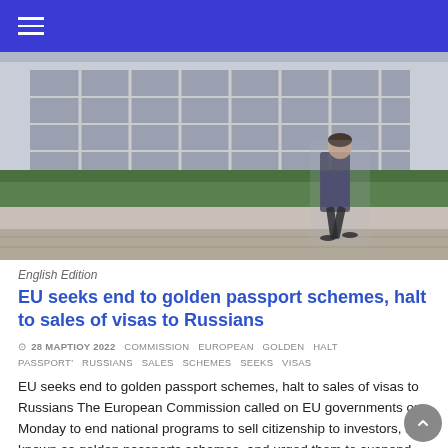[Figure (photo): A person walking in front of a large modern building with hedges along the sidewalk, blurred motion, outdoor daytime scene.]
English Edition
EU seeks end to golden passport schemes, halt to sales of visas to Russians
28 ΜΑΡΤΙΟΥ 2022   COMMISSION   EUROPEAN   GOLDEN   HALT PASSPORT'   RUSSIANS   SALES   SCHEMES   SEEKS   VISAS
EU seeks end to golden passport schemes, halt to sales of visas to Russians The European Commission called on EU governments on Monday to end national programs to sell citizenship to investors, also known as golden passports schemes, and urged them to suspend the sale of visas to Russians and Belarusians. The move follows a […]